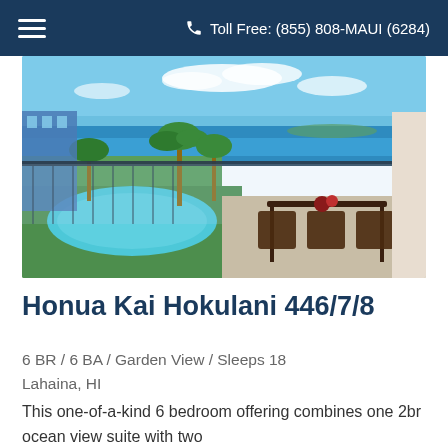Toll Free: (855) 808-MAUI (6284)
[Figure (photo): Balcony view of a Hawaiian resort with pool, ocean, palm trees, and outdoor dining furniture in the foreground]
Honua Kai Hokulani 446/7/8
6 BR / 6 BA / Garden View / Sleeps 18
Lahaina, HI
This one-of-a-kind 6 bedroom offering combines one 2br ocean view suite with two